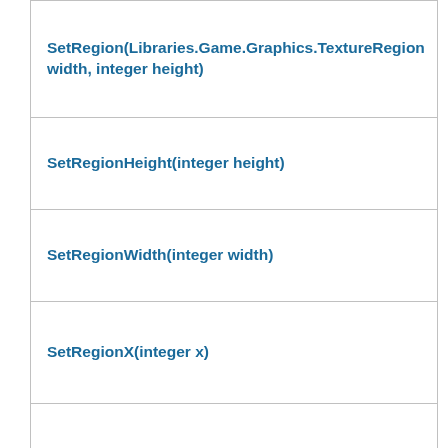SetRegion(Libraries.Game.Graphics.TextureRegion width, integer height)
SetRegionHeight(integer height)
SetRegionWidth(integer width)
SetRegionX(integer x)
SetRegionY(integer y)